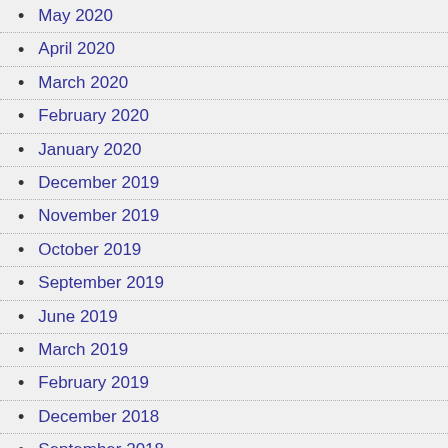May 2020
April 2020
March 2020
February 2020
January 2020
December 2019
November 2019
October 2019
September 2019
June 2019
March 2019
February 2019
December 2018
September 2018
August 2018